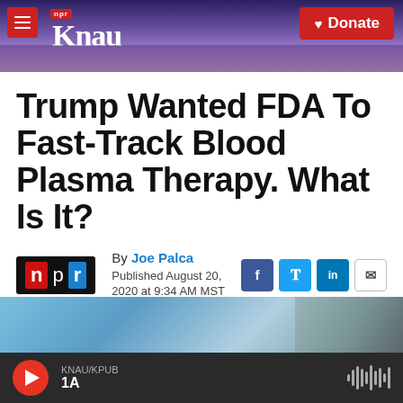[Figure (screenshot): KNAU NPR radio station website header with purple mountain background, hamburger menu, KNAU logo, and red Donate button]
Trump Wanted FDA To Fast-Track Blood Plasma Therapy. What Is It?
By Joe Palca
Published August 20, 2020 at 9:34 AM MST
[Figure (photo): Close-up photo of medical professional in blue scrubs]
KNAU/KPUB 1A